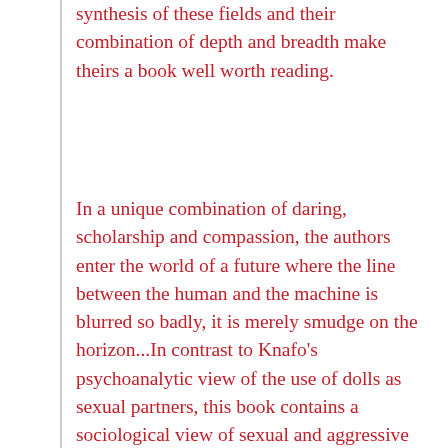synthesis of these fields and their combination of depth and breadth make theirs a book well worth reading.
In a unique combination of daring, scholarship and compassion, the authors enter the world of a future where the line between the human and the machine is blurred so badly, it is merely smudge on the horizon...In contrast to Knafo’s psychoanalytic view of the use of dolls as sexual partners, this book contains a sociological view of sexual and aggressive aspects of perversion provided by the authors. The world of no feeling but mastery and of no